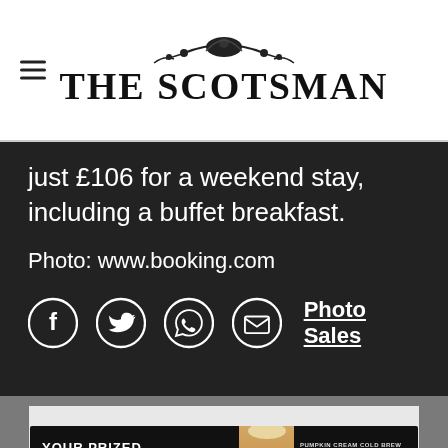THE SCOTSMAN
just £106 for a weekend stay, including a buffet breakfast.
Photo: www.booking.com
[Figure (infographic): Social share icons: Facebook, Twitter, WhatsApp, Email circles; Photo Sales link]
[Figure (infographic): Advertisement banner: YOUR PRIZED PUMPKIN - DUNKIN' PUMPKIN CREAM COLD BREW - ORDER NOW]